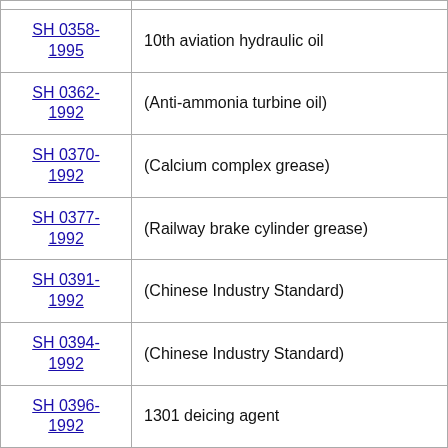| Standard Code | Description |
| --- | --- |
| SH 0358-1995 | 10th aviation hydraulic oil |
| SH 0362-1992 | (Anti-ammonia turbine oil) |
| SH 0370-1992 | (Calcium complex grease) |
| SH 0377-1992 | (Railway brake cylinder grease) |
| SH 0391-1992 | (Chinese Industry Standard) |
| SH 0394-1992 | (Chinese Industry Standard) |
| SH 0396-1992 | 1301 deicing agent |
| SH 0397-1992 | (Chinese Industry Standard) |
| SH 0419-1992 | (Chinese Industry Standard) |